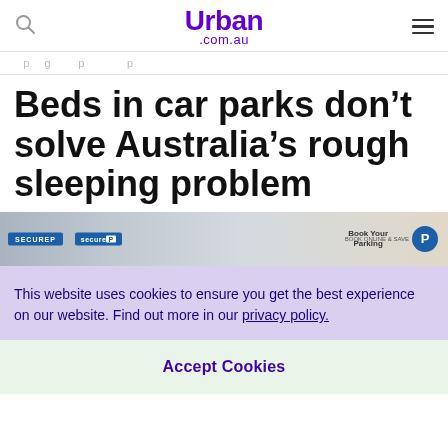Urban .com.au
... p ... g ... p
Beds in car parks don’t solve Australia’s rough sleeping problem
[Figure (photo): Photograph of a secure parking facility showing SecureP signage and 'Book Your Parking' text]
This website uses cookies to ensure you get the best experience on our website. Find out more in our privacy policy.
Accept Cookies